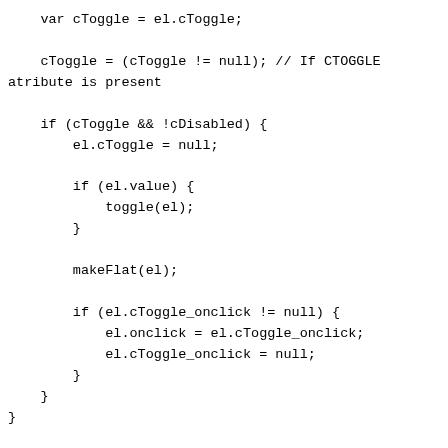var cToggle = el.cToggle;

    cToggle = (cToggle != null); // If CTOGGLE atribute is present

    if (cToggle && !cDisabled) {
        el.cToggle = null;

        if (el.value) {
            toggle(el);
        }

        makeFlat(el);

        if (el.cToggle_onclick != null) {
            el.onclick = el.cToggle_onclick;
            el.cToggle_onclick = null;
        }
    }
}

function toggle(el) {
    el.value = !el.value;

    if (el.value)
        el.style.background =
"URL(images/tilcheck.gif)";